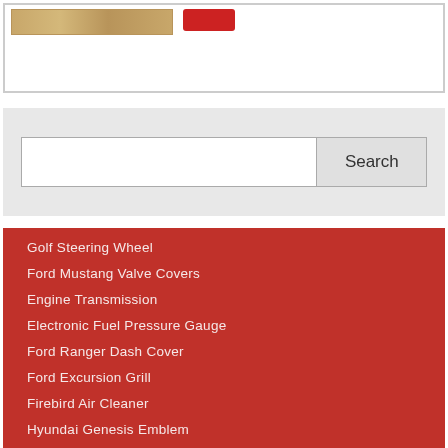[Figure (photo): Wood plank product image with a red button]
[Figure (screenshot): Search bar with text input field and Search button]
Golf Steering Wheel
Ford Mustang Valve Covers
Engine Transmission
Electronic Fuel Pressure Gauge
Ford Ranger Dash Cover
Ford Excursion Grill
Firebird Air Cleaner
Hyundai Genesis Emblem
Dodge 2500 Factory Rims
Floor Mats 2004 Honda Odyssey